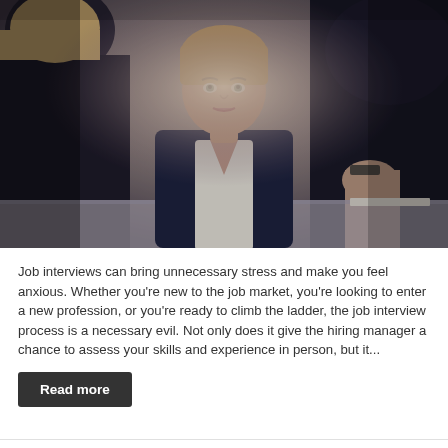[Figure (photo): A job interview scene with a woman being interviewed by two people across a table. The interviewee is a blonde woman wearing a dark blazer over a white blouse, looking attentive. The interviewers are seen from behind/side. The setting appears to be an office environment with warm lighting.]
Job interviews can bring unnecessary stress and make you feel anxious. Whether you're new to the job market, you're looking to enter a new profession, or you're ready to climb the ladder, the job interview process is a necessary evil. Not only does it give the hiring manager a chance to assess your skills and experience in person, but it...
Read more